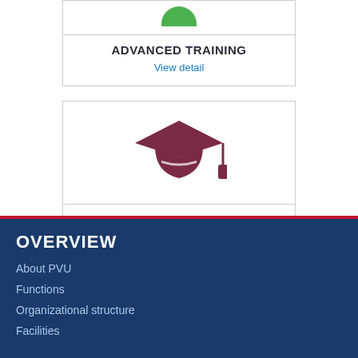[Figure (illustration): Advanced Training card with green circle icon at top, label ADVANCED TRAINING and View detail link]
ADVANCED TRAINING
View detail
[Figure (illustration): Graduate card with dark red graduation cap icon, label GRADUATE and View detail link]
GRADUATE
View detail
OVERVIEW
About PVU
Functions
Organizational structure
Facilities